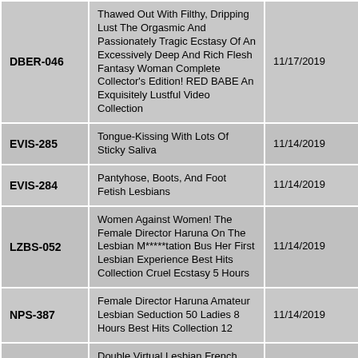| Code | Title | Date |
| --- | --- | --- |
| DBER-046 | Thawed Out With Filthy, Dripping Lust The Orgasmic And Passionately Tragic Ecstasy Of An Excessively Deep And Rich Flesh Fantasy Woman Complete Collector's Edition! RED BABE An Exquisitely Lustful Video Collection | 11/17/2019 |
| EVIS-285 | Tongue-Kissing With Lots Of Sticky Saliva | 11/14/2019 |
| EVIS-284 | Pantyhose, Boots, And Foot Fetish Lesbians | 11/14/2019 |
| LZBS-052 | Women Against Women! The Female Director Haruna On The Lesbian M*****tation Bus Her First Lesbian Experience Best Hits Collection Cruel Ecstasy 5 Hours | 11/14/2019 |
| NPS-387 | Female Director Haruna Amateur Lesbian Seduction 50 Ladies 8 Hours Best Hits Collection 12 | 11/14/2019 |
| EVIS-282 | Double Virtual Lesbian French Kiss 4 | 10/26/2019 |
| NASH-170 | A Creampie Ejaculation So Massive It Will Cover Up The Pussy Hairs Of This Bushy Haired Mama! | 10/24/2019 |
| YRLL-002 | Orgasmic Spittle and Fluids In A Bukkake Face Licking Lesbian Love Fest Vol 02 The World's Strongest Face Licking Lesbian | 10/12/2019 |